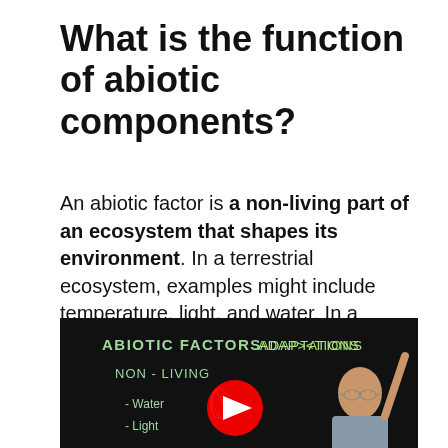What is the function of abiotic components?
An abiotic factor is a non-living part of an ecosystem that shapes its environment. In a terrestrial ecosystem, examples might include temperature, light, and water. In a marine ecosystem, abiotic factors would include salinity and ocean currents. Abiotic and biotic factors work together to create a unique ecosystem.
[Figure (screenshot): A YouTube video thumbnail showing a teacher at a blackboard with chalk writing 'ABIOTIC FACTORS', 'NON-LIVING', '- Water', '- Light', and 'ADAPTATIONS'. A YouTube play button (red circle with white triangle) is overlaid in the center.]